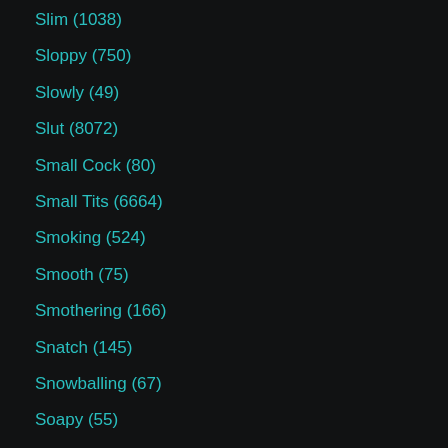Slim (1038)
Sloppy (750)
Slowly (49)
Slut (8072)
Small Cock (80)
Small Tits (6664)
Smoking (524)
Smooth (75)
Smothering (166)
Snatch (145)
Snowballing (67)
Soapy (55)
Soccer (65)
Socks (228)
Sodomized (118)
Softcore (3031)